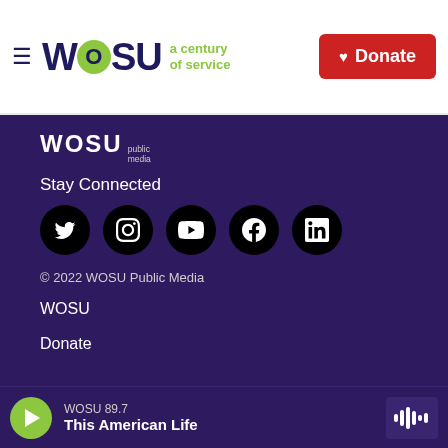WOSU a century of service | Donate
[Figure (logo): WOSU Public Media footer logo in white]
Stay Connected
[Figure (infographic): Social media icons: Twitter, Instagram, YouTube, Facebook, LinkedIn]
© 2022 WOSU Public Media
WOSU
Donate
WOSU 89.7
This American Life